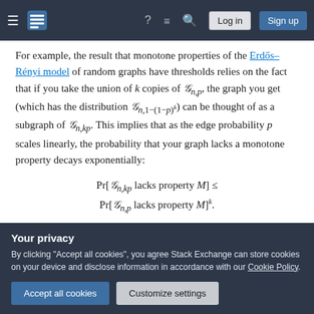Stack Exchange navigation bar with hamburger menu, logo, help, chat, search icons, Log in and Sign up buttons
For example, the result that monotone properties of the Erdős–Rényi model of random graphs have thresholds relies on the fact that if you take the union of k copies of G_{n,p}, the graph you get (which has the distribution G_{n,1−(1−p)^k}) can be thought of as a subgraph of G_{n,kp}. This implies that as the edge probability p scales linearly, the probability that your graph lacks a monotone property decays exponentially:
Your privacy — By clicking "Accept all cookies", you agree Stack Exchange can store cookies on your device and disclose information in accordance with our Cookie Policy.